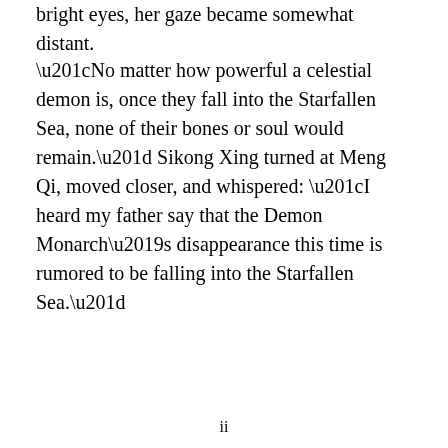bright eyes, her gaze became somewhat distant.
“No matter how powerful a celestial demon is, once they fall into the Starfallen Sea, none of their bones or soul would remain.” Sikong Xing turned at Meng Qi, moved closer, and whispered: “I heard my father say that the Demon Monarch’s disappearance this time is rumored to be falling into the Starfallen Sea.”
ii